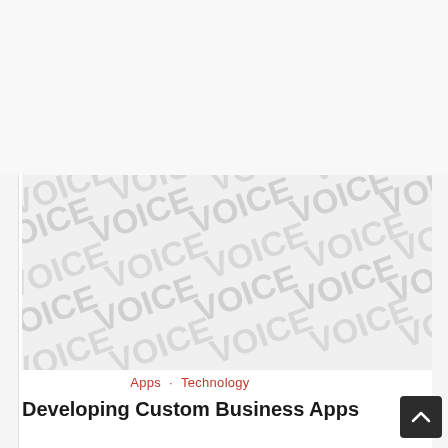[Figure (illustration): Watermark/blurred image area with repeated VOICE text pattern in light gray diagonal text across the full image area]
Apps · Technology
Developing Custom Business Apps